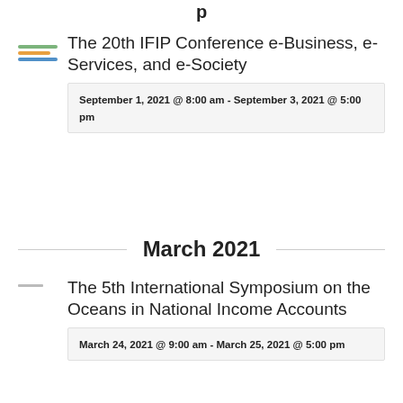March 2021
The 20th IFIP Conference e-Business, e-Services, and e-Society
September 1, 2021 @ 8:00 am - September 3, 2021 @ 5:00 pm
March 2021
The 5th International Symposium on the Oceans in National Income Accounts
March 24, 2021 @ 9:00 am - March 25, 2021 @ 5:00 pm